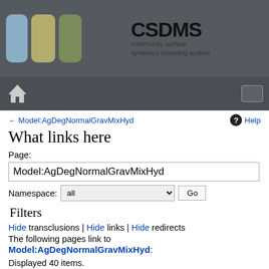[Figure (logo): CSDMS (Community Surface Dynamics Modeling System) logo with colored tab icons and text]
← Model:AgDegNormalGravMixHyd   Help
What links here
Page:
Model:AgDegNormalGravMixHyd
Namespace: all   Go
Filters
Hide transclusions | Hide links | Hide redirects
The following pages link to
Model:AgDegNormalGravMixHyd:
Displayed 40 items.